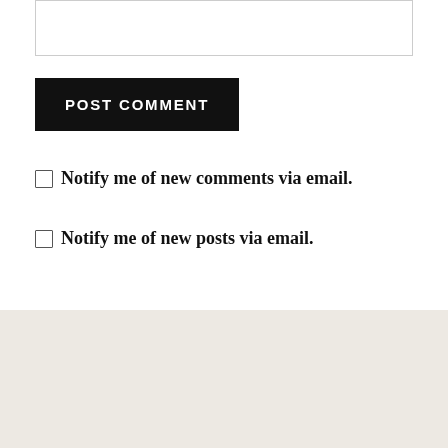[text input box]
POST COMMENT
Notify me of new comments via email.
Notify me of new posts via email.
Visit SBL’s website